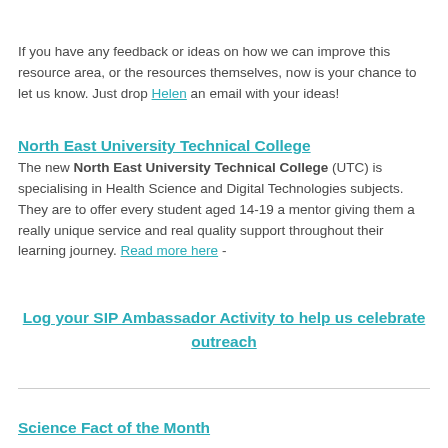If you have any feedback or ideas on how we can improve this resource area, or the resources themselves, now is your chance to let us know. Just drop Helen an email with your ideas!
North East University Technical College
The new North East University Technical College (UTC) is specialising in Health Science and Digital Technologies subjects. They are to offer every student aged 14-19 a mentor giving them a really unique service and real quality support throughout their learning journey. Read more here -
Log your SIP Ambassador Activity to help us celebrate outreach
Science Fact of the Month